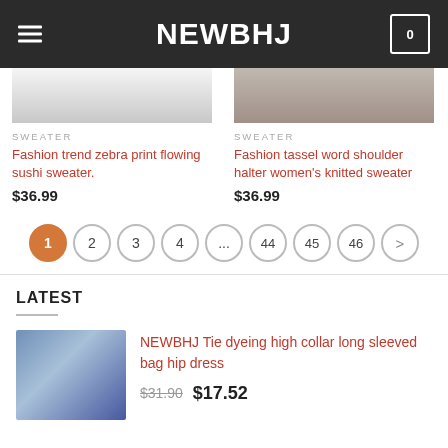NEWBHJ
SWEATER
Fashion trend zebra print flowing sushi sweater.
$36.99
SWEATER
Fashion tassel word shoulder halter women's knitted sweater
$36.99
1 2 3 4 ... 44 45 46 >
LATEST
NEWBHJ Tie dyeing high collar long sleeved bag hip dress
$31.90  $17.52